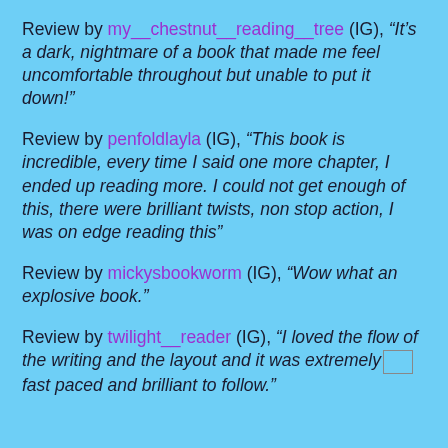Review by my__chestnut__reading__tree (IG), “It’s a dark, nightmare of a book that made me feel uncomfortable throughout but unable to put it down!”
Review by penfoldlayla (IG), “This book is incredible, every time I said one more chapter, I ended up reading more. I could not get enough of this, there were brilliant twists, non stop action, I was on edge reading this”
Review by mickysbookworm (IG), “Wow what an explosive book.”
Review by twilight__reader (IG), “I loved the flow of the writing and the layout and it was extremely fast paced and brilliant to follow.”